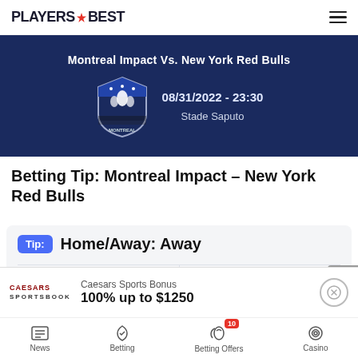PLAYERS BEST
[Figure (illustration): Dark blue banner showing 'Montreal Impact Vs. New York Red Bulls' with Montreal Impact shield logo, date 08/31/2022 - 23:30, and venue Stade Saputo]
Betting Tip: Montreal Impact – New York Red Bulls
Tip: Home/Away: Away
| Odd: | Current Bonus: |
| --- | --- |
| 2.25 | Bet $1, Get $200 |
Caesars Sports Bonus
100% up to $1250
News | Betting | Betting Offers (10) | Casino